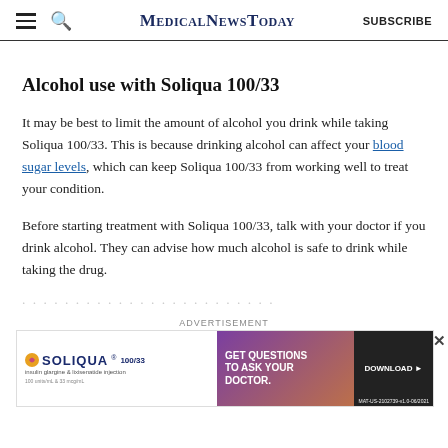MedicalNewsToday | SUBSCRIBE
Alcohol use with Soliqua 100/33
It may be best to limit the amount of alcohol you drink while taking Soliqua 100/33. This is because drinking alcohol can affect your blood sugar levels, which can keep Soliqua 100/33 from working well to treat your condition.
Before starting treatment with Soliqua 100/33, talk with your doctor if you drink alcohol. They can advise how much alcohol is safe to drink while taking the drug.
[Figure (other): Soliqua 100/33 advertisement banner with purple-orange gradient, Get Questions To Ask Your Doctor, Download button, MAT-US-2102739-v1.0-06/2021]